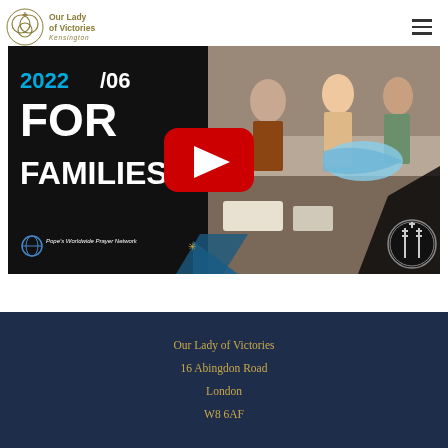[Figure (logo): Our Lady of Victories Kensington logo with circular emblem and text]
[Figure (screenshot): YouTube video thumbnail: '2022/06 FOR FAMILIES' from Pope's Worldwide Prayer Network, with play button overlay, family scene on right half]
Our Lady of Victories
16 Abingdon Road
London
W8 6AF